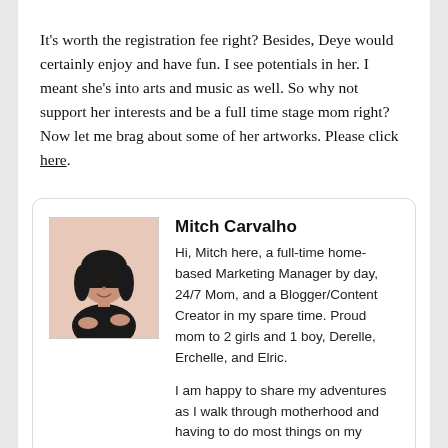It's worth the registration fee right? Besides, Deye would certainly enjoy and have fun. I see potentials in her. I meant she's into arts and music as well. So why not support her interests and be a full time stage mom right? Now let me brag about some of her artworks. Please click here.
[Figure (photo): Portrait photo of a woman with dark hair wearing a black top, seated against a pink background]
Mitch Carvalho
Hi, Mitch here, a full-time home-based Marketing Manager by day, 24/7 Mom, and a Blogger/Content Creator in my spare time. Proud mom to 2 girls and 1 boy, Derelle, Erchelle, and Elric.
I am happy to share my adventures as I walk through motherhood and having to do most things on my